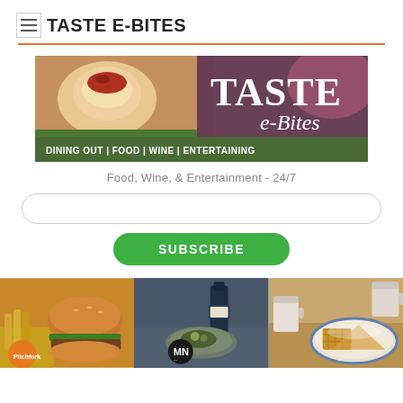JOIN TASTE E-BITES
[Figure (photo): TASTE e-Bites banner: food photo with scallop dish on left, large TASTE text on right, tagline DINING OUT | FOOD | WINE | ENTERTAINING on green bar]
Food, Wine, & Entertainment - 24/7
[Figure (other): Email input text field with rounded border]
SUBSCRIBE
[Figure (photo): Three food photos side by side: burger with fries, MN Wine Bar plate with bottle, and breakfast/brunch plate with sandwich]